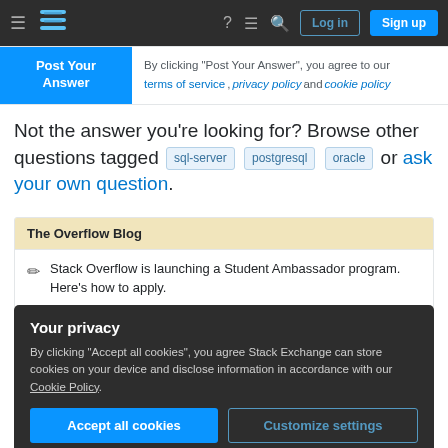Stack Overflow navigation bar with Log in and Sign up buttons
By clicking "Post Your Answer", you agree to our terms of service, privacy policy and cookie policy
Not the answer you're looking for? Browse other questions tagged sql-server postgresql oracle or ask your own question.
The Overflow Blog
Stack Overflow is launching a Student Ambassador program. Here's how to apply.
Your privacy
By clicking "Accept all cookies", you agree Stack Exchange can store cookies on your device and disclose information in accordance with our Cookie Policy.
Accept all cookies   Customize settings
Announcing the Stack Overflow Student Ambassador